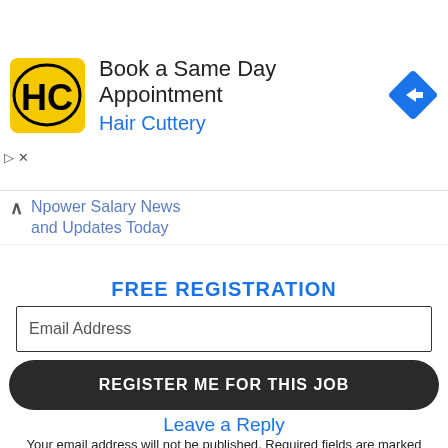[Figure (other): Hair Cuttery advertisement banner with HC logo, text 'Book a Same Day Appointment' and 'Hair Cuttery', and a blue diamond navigation arrow icon]
Npower Salary News and Updates Today
FREE REGISTRATION
Email Address
REGISTER ME FOR THIS JOB
Leave a Reply
Your email address will not be published. Required fields are marked